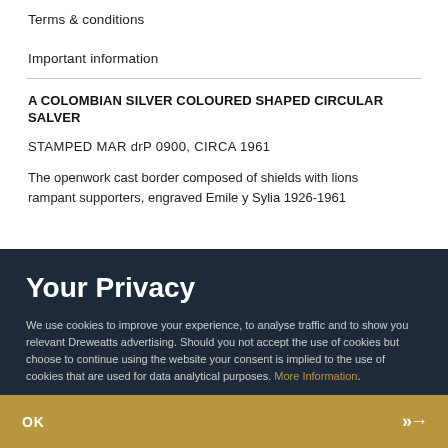Terms & conditions
Important information
A COLOMBIAN SILVER COLOURED SHAPED CIRCULAR SALVER
STAMPED MAR drP 0900, CIRCA 1961
The openwork cast border composed of shields with lions rampant supporters, engraved Emile y Sylia 1926-1961
Your Privacy
We use cookies to improve your experience, to analyse traffic and to show you relevant Dreweatts advertising. Should you not accept the use of cookies but choose to continue using the website your consent is implied to the use of cookies that are used for data analytical purposes. More Information.
OK